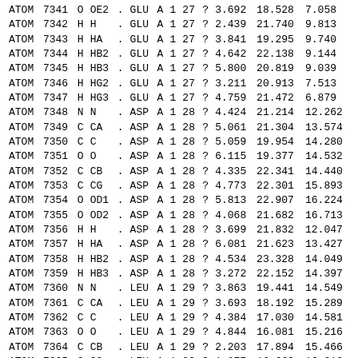| record | serial | element | name | . | residue | chain | model | seqnum | ? | x | y | z |
| --- | --- | --- | --- | --- | --- | --- | --- | --- | --- | --- | --- | --- |
| ATOM | 7341 | O | OE2 | . | GLU | A | 1 | 27 | ? | 3.692 | 18.528 | 7.058 |
| ATOM | 7342 | H | H | . | GLU | A | 1 | 27 | ? | 2.439 | 21.740 | 9.813 |
| ATOM | 7343 | H | HA | . | GLU | A | 1 | 27 | ? | 3.841 | 19.295 | 9.740 |
| ATOM | 7344 | H | HB2 | . | GLU | A | 1 | 27 | ? | 4.642 | 22.138 | 9.144 |
| ATOM | 7345 | H | HB3 | . | GLU | A | 1 | 27 | ? | 5.800 | 20.819 | 9.039 |
| ATOM | 7346 | H | HG2 | . | GLU | A | 1 | 27 | ? | 3.211 | 20.913 | 7.513 |
| ATOM | 7347 | H | HG3 | . | GLU | A | 1 | 27 | ? | 4.759 | 21.472 | 6.879 |
| ATOM | 7348 | N | N | . | ASP | A | 1 | 28 | ? | 4.424 | 21.214 | 12.262 |
| ATOM | 7349 | C | CA | . | ASP | A | 1 | 28 | ? | 5.061 | 21.304 | 13.574 |
| ATOM | 7350 | C | C | . | ASP | A | 1 | 28 | ? | 5.059 | 19.954 | 14.280 |
| ATOM | 7351 | O | O | . | ASP | A | 1 | 28 | ? | 6.115 | 19.377 | 14.532 |
| ATOM | 7352 | C | CB | . | ASP | A | 1 | 28 | ? | 4.335 | 22.341 | 14.440 |
| ATOM | 7353 | C | CG | . | ASP | A | 1 | 28 | ? | 4.773 | 22.301 | 15.893 |
| ATOM | 7354 | O | OD1 | . | ASP | A | 1 | 28 | ? | 5.813 | 22.907 | 16.224 |
| ATOM | 7355 | O | OD2 | . | ASP | A | 1 | 28 | ? | 4.068 | 21.682 | 16.713 |
| ATOM | 7356 | H | H | . | ASP | A | 1 | 28 | ? | 3.699 | 21.832 | 12.047 |
| ATOM | 7357 | H | HA | . | ASP | A | 1 | 28 | ? | 6.081 | 21.623 | 13.427 |
| ATOM | 7358 | H | HB2 | . | ASP | A | 1 | 28 | ? | 4.534 | 23.328 | 14.049 |
| ATOM | 7359 | H | HB3 | . | ASP | A | 1 | 28 | ? | 3.272 | 22.152 | 14.397 |
| ATOM | 7360 | N | N | . | LEU | A | 1 | 29 | ? | 3.863 | 19.441 | 14.549 |
| ATOM | 7361 | C | CA | . | LEU | A | 1 | 29 | ? | 3.693 | 18.192 | 15.289 |
| ATOM | 7362 | C | C | . | LEU | A | 1 | 29 | ? | 4.384 | 17.030 | 14.581 |
| ATOM | 7363 | O | O | . | LEU | A | 1 | 29 | ? | 4.844 | 16.081 | 15.216 |
| ATOM | 7364 | C | CB | . | LEU | A | 1 | 29 | ? | 2.203 | 17.894 | 15.466 |
| ATOM | 7365 | C | CG | . | LEU | A | 1 | 29 | ? | 1.877 | 16.663 | 16.316 |
| ATOM | 7366 | C | CD1 | . | LEU | A | 1 | 29 | ? | 2.382 | 16.844 | 17.741 |
| ATOM | 7367 | C | CD2 | . | LEU | A | 1 | 29 | ? | 0.380 | 16.400 | 16.312 |
| ATOM | 7368 | H | H | . | LEU | A | 1 | 29 | ? | 3.066 | 19.922 | 14.243 |
| ATOM | 7369 | H | HA | . | LEU | A | 1 | 29 | ? | 4.141 | 18.321 | 16.262 |
| ATOM | 7370 | H | HB2 | . | LEU | A | 1 | 29 | ? | 1.739 | 18.755 | 15.925 |